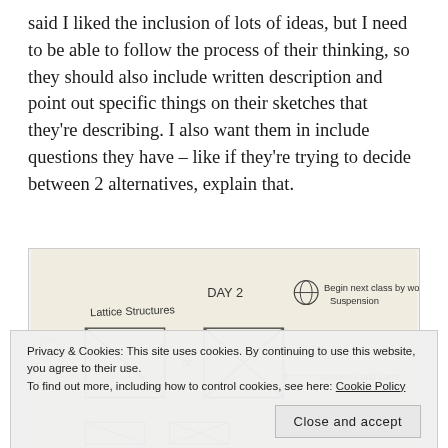said I liked the inclusion of lots of ideas, but I need to be able to follow the process of their thinking, so they should also include written description and point out specific things on their sketches that they're describing. I also want them in include questions they have – like if they're trying to decide between 2 alternatives, explain that.
[Figure (photo): Handwritten student sketch page labeled 'DAY 2' showing 'Lattice Structures' with hand-drawn rectangular frames with diagonal lines, and a note about 'Begin next class by working on Suspension' and 'connects and parts']
Privacy & Cookies: This site uses cookies. By continuing to use this website, you agree to their use.
To find out more, including how to control cookies, see here: Cookie Policy
Close and accept